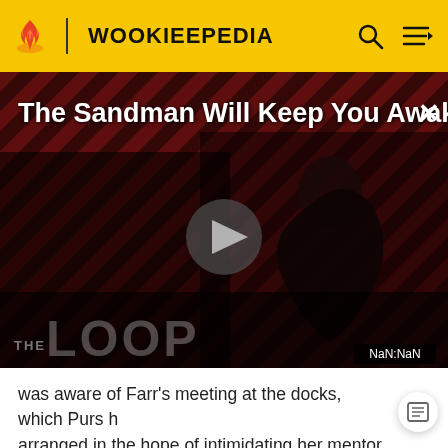WOOKIEEPEDIA
[Figure (screenshot): Video thumbnail for 'The Sandman Will Keep You Awake...' with a dark figure on a red striped background, play button in center, The Loop branding at bottom, NaN:NaN timestamp indicator]
was aware of Farr's meeting at the docks, which Purs had arranged in the hope of intimidating her mentor out of the Senate. Intending to prevent the Umbaran from ever revealing her guilt, Purs stabbed Deechi in the chest with a dagger, killing him.[3]